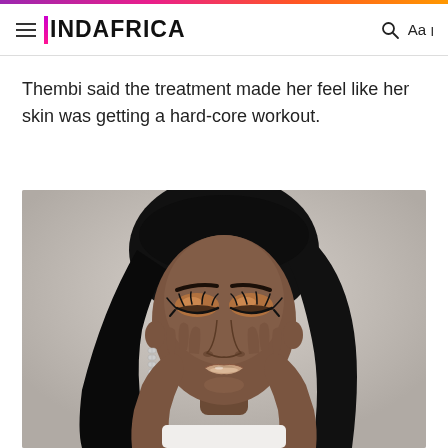INDAFRICA
Thembi said the treatment made her feel like her skin was getting a hard-core workout.
[Figure (photo): A young Black woman with long straight black hair, wearing dramatic eye makeup with bronze/copper eyeshadow and long lashes, holding her face with both hands, wearing a white top and dangling chain earrings, photographed against a light gray background.]